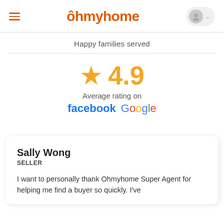ohmyhome
Happy families served
[Figure (infographic): Star rating display showing 4.9 average rating on Facebook and Google]
Sally Wong
SELLER
I want to personally thank Ohmyhome Super Agent for helping me find a buyer so quickly. I've